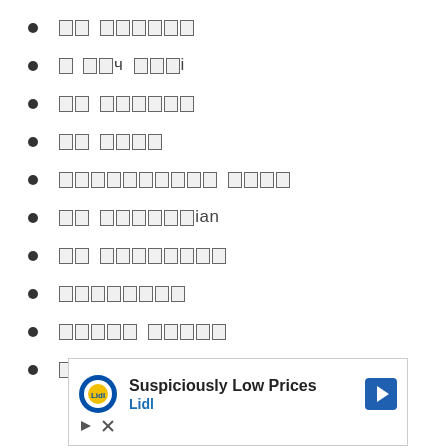[redacted] [redacted]
[redacted] [redacted]
[redacted] [redacted]
[redacted] [redacted]
[redacted] [redacted]
[redacted] [redacted]ian
[redacted] [redacted]
[redacted]
[redacted] [redacted]
[redacted]
[Figure (infographic): Advertisement for Lidl: Suspiciously Low Prices with Lidl logo, navigation arrow icon, play and close controls]